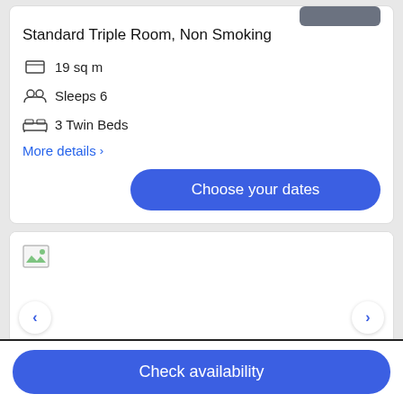Standard Triple Room, Non Smoking
19 sq m
Sleeps 6
3 Twin Beds
More details >
Choose your dates
[Figure (photo): Room image placeholder with broken image icon and left/right navigation arrows]
Check availability